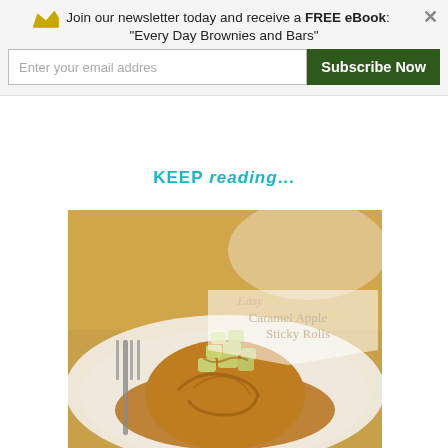Join our newsletter today and receive a FREE eBook: "Every Day Brownies and Bars"
Enter your email addres  |  Subscribe Now
KEEP reading...
[Figure (photo): Easy Caramel Apple Sticky Rolls - a caramel apple sticky roll on a white plate with a fork, topped with diced apples and caramel sauce]